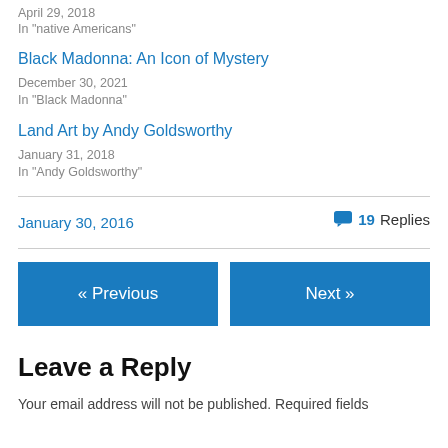April 29, 2018
In "native Americans"
Black Madonna: An Icon of Mystery
December 30, 2021
In "Black Madonna"
Land Art by Andy Goldsworthy
January 31, 2018
In "Andy Goldsworthy"
January 30, 2016
19 Replies
« Previous
Next »
Leave a Reply
Your email address will not be published. Required fields